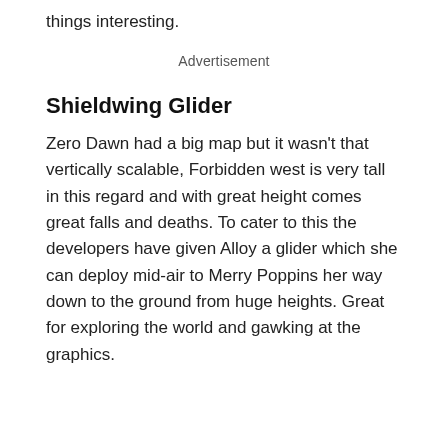things interesting.
Advertisement
Shieldwing Glider
Zero Dawn had a big map but it wasn't that vertically scalable, Forbidden west is very tall in this regard and with great height comes great falls and deaths. To cater to this the developers have given Alloy a glider which she can deploy mid-air to Merry Poppins her way down to the ground from huge heights. Great for exploring the world and gawking at the graphics.